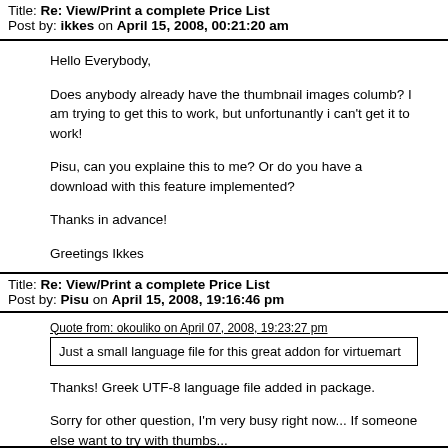Title: Re: View/Print a complete Price List
Post by: ikkes on April 15, 2008, 00:21:20 am
Hello Everybody,

Does anybody already have the thumbnail images columb? I am trying to get this to work, but unfortunantly i can't get it to work!

Pisu, can you explaine this to me? Or do you have a download with this feature implemented?

Thanks in advance!

Greetings Ikkes
Title: Re: View/Print a complete Price List
Post by: Pisu on April 15, 2008, 19:16:46 pm
Quote from: okouliko on April 07, 2008, 19:23:27 pm
Just a small language file for this great addon for virtuemart
Thanks! Greek UTF-8 language file added in package.

Sorry for other question, I'm very busy right now... If someone else want to try with thumbs...